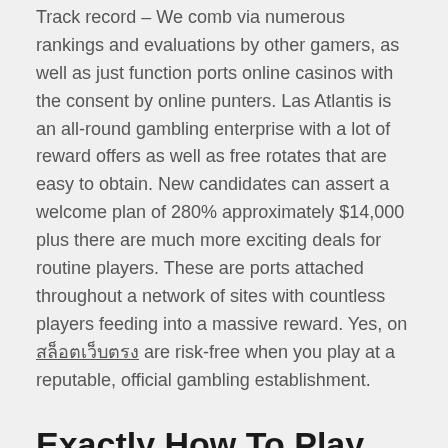Track record – We comb via numerous rankings and evaluations by other gamers, as well as just function ports online casinos with the consent by online punters. Las Atlantis is an all-round gambling enterprise with a lot of reward offers as well as free rotates that are easy to obtain. New candidates can assert a welcome plan of 280% approximately $14,000 plus there are much more exciting deals for routine players. These are ports attached throughout a network of sites with countless players feeding into a massive reward. Yes, on สล็อตเว็บตรง are risk-free when you play at a reputable, official gambling establishment.
Exactly How To Play Online One-Armed Bandit